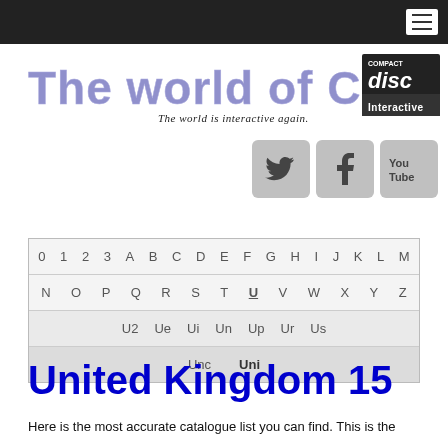Navigation bar with hamburger menu
[Figure (logo): The world of CD-i logo with tagline 'The world is interactive again.' and Compact Disc Interactive logo]
[Figure (infographic): Social media buttons: Twitter, Facebook, YouTube]
| 0 | 1 | 2 | 3 | A | B | C | D | E | F | G | H | I | J | K | L | M |
| N | O | P | Q | R | S | T | U | V | W | X | Y | Z |
| U2 | Ue | Ui | Un | Up | Ur | Us |
| Unc | Uni |
United Kingdom 15
Here is the most accurate catalogue list you can find. This is the